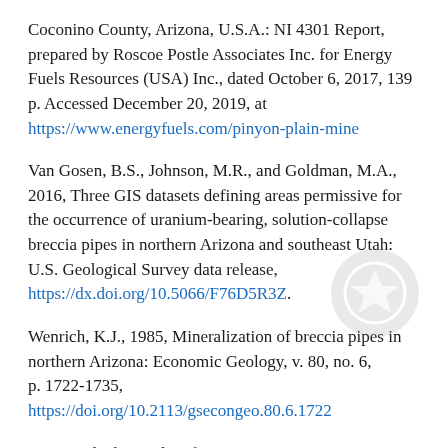Coconino County, Arizona, U.S.A.: NI 4301 Report, prepared by Roscoe Postle Associates Inc. for Energy Fuels Resources (USA) Inc., dated October 6, 2017, 139 p. Accessed December 20, 2019, at https://www.energyfuels.com/pinyon-plain-mine
Van Gosen, B.S., Johnson, M.R., and Goldman, M.A., 2016, Three GIS datasets defining areas permissive for the occurrence of uranium-bearing, solution-collapse breccia pipes in northern Arizona and southeast Utah: U.S. Geological Survey data release, https://dx.doi.org/10.5066/F76D5R3Z.
Wenrich, K.J., 1985, Mineralization of breccia pipes in northern Arizona: Economic Geology, v. 80, no. 6, p. 1722-1735, https://doi.org/10.2113/gsecongeo.80.6.1722
Digital Object Identifier: 10.5066/P9UUILQI